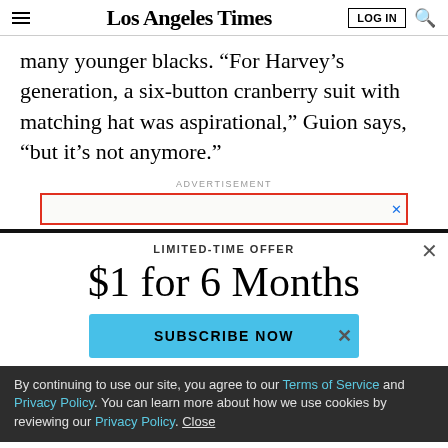Los Angeles Times  LOG IN
many younger blacks. “For Harvey’s generation, a six-button cranberry suit with matching hat was aspirational,” Guion says, “but it’s not anymore.”
ADVERTISEMENT
[Figure (other): Advertisement banner with red border and close (X) button]
LIMITED-TIME OFFER
$1 for 6 Months
SUBSCRIBE NOW
By continuing to use our site, you agree to our Terms of Service and Privacy Policy. You can learn more about how we use cookies by reviewing our Privacy Policy. Close